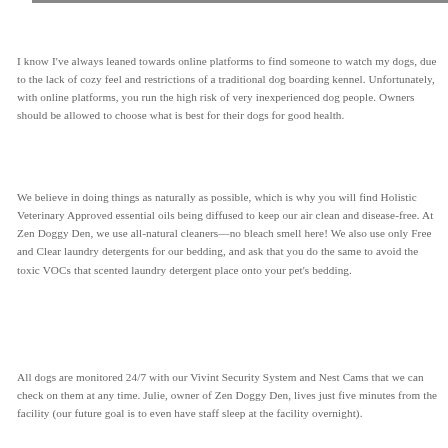I know I've always leaned towards online platforms to find someone to watch my dogs, due to the lack of cozy feel and restrictions of a traditional dog boarding kennel. Unfortunately, with online platforms, you run the high risk of very inexperienced dog people. Owners should be allowed to choose what is best for their dogs for good health.
We believe in doing things as naturally as possible, which is why you will find Holistic Veterinary Approved essential oils being diffused to keep our air clean and disease-free. At Zen Doggy Den, we use all-natural cleaners—no bleach smell here! We also use only Free and Clear laundry detergents for our bedding, and ask that you do the same to avoid the toxic VOCs that scented laundry detergent place onto your pet's bedding.
All dogs are monitored 24/7 with our Vivint Security System and Nest Cams that we can check on them at any time. Julie, owner of Zen Doggy Den, lives just five minutes from the facility (our future goal is to even have staff sleep at the facility overnight).